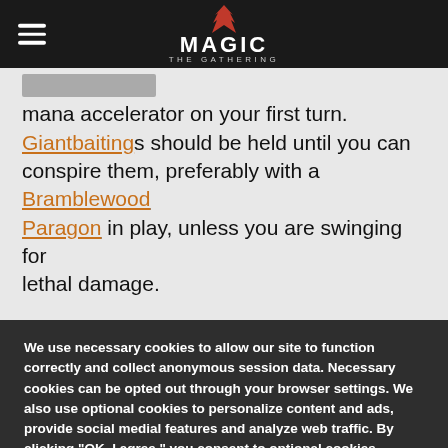Magic: The Gathering
mana accelerator on your first turn. Giantbaitings should be held until you can conspire them, preferably with a Bramblewood Paragon in play, unless you are swinging for lethal damage.

Obsidian Battle-Axe gives this deck the longevity to overcome powerful board sweepers
We use necessary cookies to allow our site to function correctly and collect anonymous session data. Necessary cookies can be opted out through your browser settings. We also use optional cookies to personalize content and ads, provide social medial features and analyze web traffic. By clicking “OK, I agree,” you consent to optional cookies. (Learn more about cookies.)
OK, I agree
No, thanks